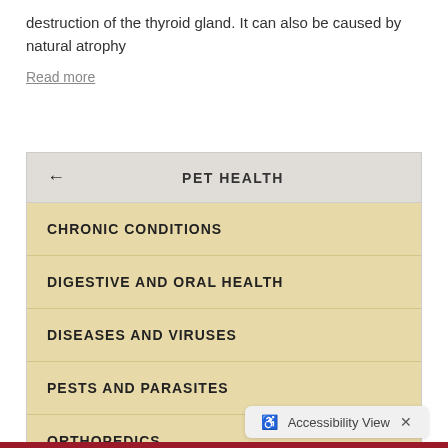destruction of the thyroid gland. It can also be caused by natural atrophy
Read more
PET HEALTH
CHRONIC CONDITIONS
DIGESTIVE AND ORAL HEALTH
DISEASES AND VIRUSES
PESTS AND PARASITES
ORTHOPEDICS
Accessibility View